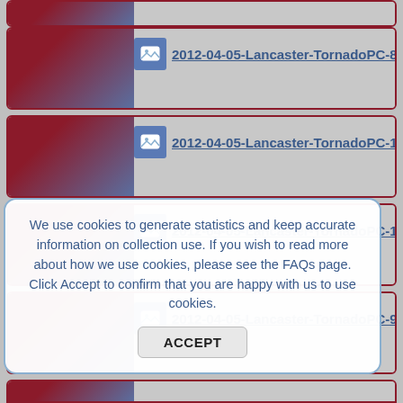2012-04-05-Lancaster-TornadoPC-833
2012-04-05-Lancaster-TornadoPC-1160
2012-04-05-Lancaster-TornadoPC-1214
2012-04-05-Lancaster-TornadoPC-960
We use cookies to generate statistics and keep accurate information on collection use. If you wish to read more about how we use cookies, please see the FAQs page. Click Accept to confirm that you are happy with us to use cookies.